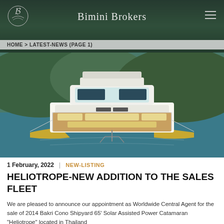Bimini Brokers
HOME > LATEST-NEWS (PAGE 1)
[Figure (photo): Front bow view of a white and gold power catamaran yacht with teak deck and seating, on turquoise water with forested hills in background]
1 February, 2022  |  NEW-LISTING
HELIOTROPE-NEW ADDITION TO THE SALES FLEET
We are pleased to announce our appointment as Worldwide Central Agent for the sale of 2014 Bakri Cono Shipyard 65' Solar Assisted Power Catamaran "Heliotrope" located in Thailand